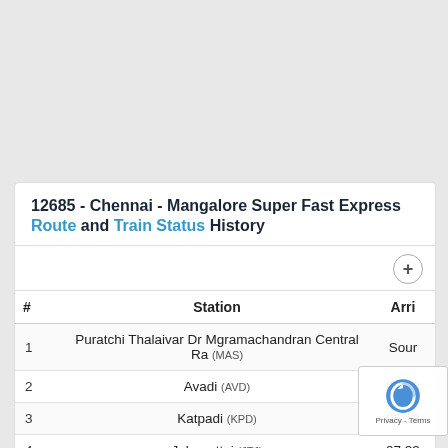12685 - Chennai - Mangalore Super Fast Express Route and Train Status History
| # | Station | Arri |
| --- | --- | --- |
| 1 | Puratchi Thalaivar Dr Mgramachandran Central Ra (MAS) | Sour |
| 2 | Avadi (AVD) | 04:48 |
| 3 | Katpadi (KPD) | 06:13 |
| 4 | Jolarpettai (JTJ) | 07:33 |
| 5 | Morappur (MAP) |  |
| 6 | Salem (SA) |  |
| 7 | Erode (ED) |  |
| 8 | Tiruppur (TUP) | 11:03 |